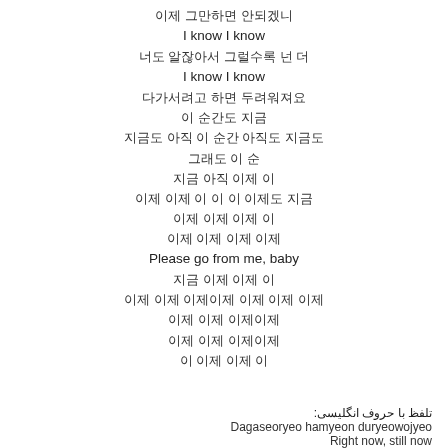이제 그만하면 안되겠니
I know I know
너도 알잖아서 그럴수록 넌 더
I know I know
다가서려고 하면 두려워져요
이 순간도 지금
지금도 아직 이 순간 아직도 지금도
그래도 이 순
지금 아직 이제 이
이제 이제 이 이 이 이제도 지금
이제 이제 이제 이
이제 이제 이제 이제
Please go from me, baby
지금 이제 이제 이
이제 이제 이제이제 이제 이제 이제
이제 이제 이제이제
이제 이제 이제이제
이 이제 이제 이
تلفظ با حروف انگلیسی:
Dagaseoryeo hamyeon duryeowojyeo
Right now, still now